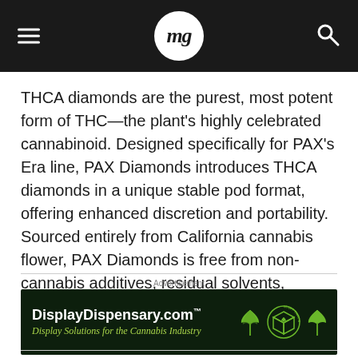mg
THCA diamonds are the purest, most potent form of THC—the plant's highly celebrated cannabinoid. Designed specifically for PAX's Era line, PAX Diamonds introduces THCA diamonds in a unique stable pod format, offering enhanced discretion and portability. Sourced entirely from California cannabis flower, PAX Diamonds is free from non-cannabis additives, residual solvents, harmful heavy metals or other combustion byproducts.
Advertisement
[Figure (illustration): DisplayDispensary.com advertisement banner with dark green background, white bold site name, green italic tagline 'Display Solutions for the Cannabis Industry', cannabis leaf icons and a cube graphic on the right side with text 'STUFF THAT SELLS YOUR STUFF']